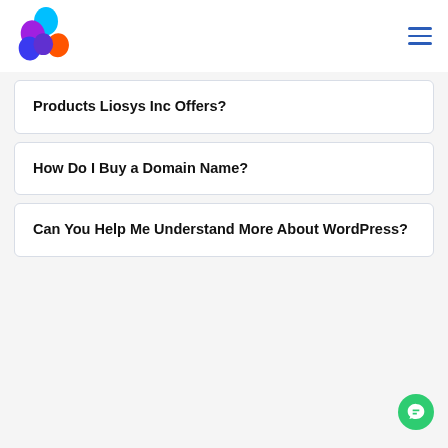Liosys Inc logo and navigation menu
Products Liosys Inc Offers?
How Do I Buy a Domain Name?
Can You Help Me Understand More About WordPress?